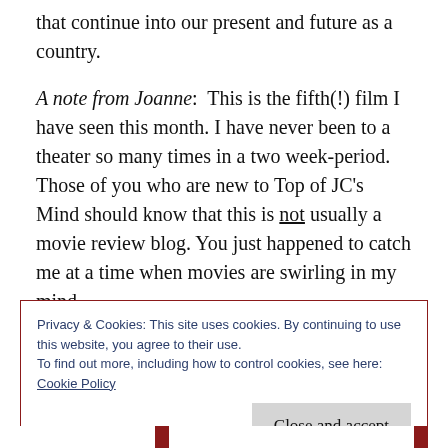that continue into our present and future as a country.
A note from Joanne:  This is the fifth(!) film I have seen this month. I have never been to a theater so many times in a two week-period. Those of you who are new to Top of JC’s Mind should know that this is not usually a movie review blog. You just happened to catch me at a time when movies are swirling in my mind.
*****
Privacy & Cookies: This site uses cookies. By continuing to use this website, you agree to their use.
To find out more, including how to control cookies, see here:
Cookie Policy

Close and accept